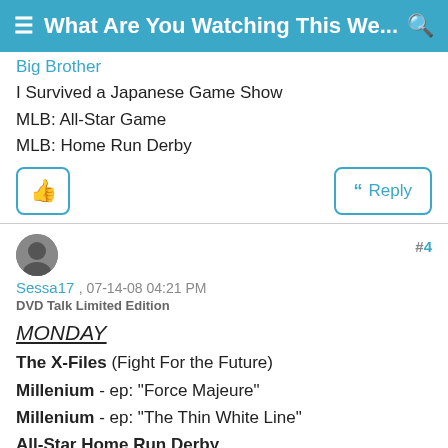What Are You Watching This We...
Big Brother
I Survived a Japanese Game Show
MLB: All-Star Game
MLB: Home Run Derby
Sessa17 , 07-14-08 04:21 PM
DVD Talk Limited Edition
#4
MONDAY
The X-Files (Fight For the Future)
Millenium - ep: "Force Majeure"
Millenium - ep: "The Thin White Line"
All-Star Home Run Derby